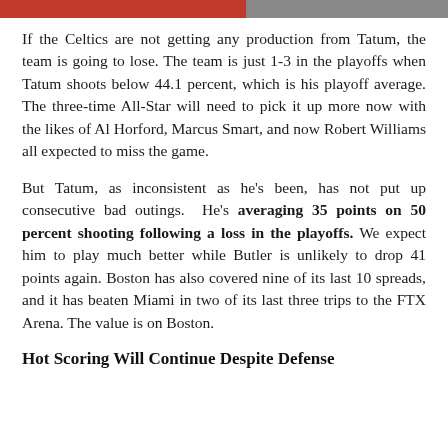[Figure (photo): Colored image bar at top of page, red on left and gray on right]
If the Celtics are not getting any production from Tatum, the team is going to lose. The team is just 1-3 in the playoffs when Tatum shoots below 44.1 percent, which is his playoff average. The three-time All-Star will need to pick it up more now with the likes of Al Horford, Marcus Smart, and now Robert Williams all expected to miss the game.
But Tatum, as inconsistent as he's been, has not put up consecutive bad outings. He's averaging 35 points on 50 percent shooting following a loss in the playoffs. We expect him to play much better while Butler is unlikely to drop 41 points again. Boston has also covered nine of its last 10 spreads, and it has beaten Miami in two of its last three trips to the FTX Arena. The value is on Boston.
Hot Scoring Will Continue Despite Defense